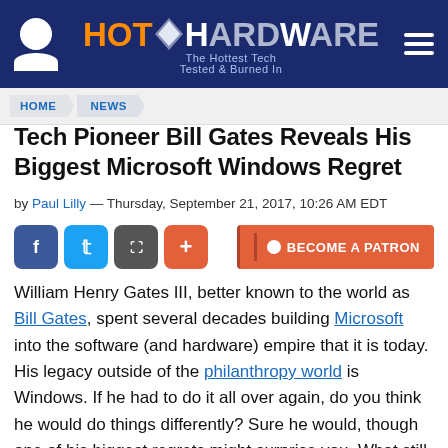HotHardware — The Hottest Tech Tested & Burned In
HOME > NEWS
Tech Pioneer Bill Gates Reveals His Biggest Microsoft Windows Regret
by Paul Lilly — Thursday, September 21, 2017, 10:26 AM EDT
[Figure (other): Social sharing buttons (Facebook, Twitter, share) and Become a Patron button]
William Henry Gates III, better known to the world as Bill Gates, spent several decades building Microsoft into the software (and hardware) empire that it is today. His legacy outside of the philanthropy world is Windows. If he had to do it all over again, do you think he would do things differently? Sure he would, though one of his biggest regrets might surprise you. What still eats away at Gates to this day is how to force a reboot in Windows.